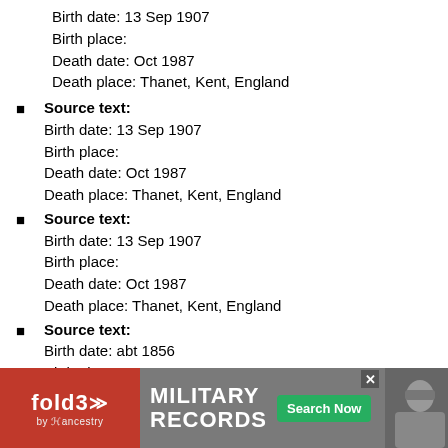Birth date: 13 Sep 1907
Birth place:
Death date: Oct 1987
Death place: Thanet, Kent, England
Source text:
Birth date: 13 Sep 1907
Birth place:
Death date: Oct 1987
Death place: Thanet, Kent, England
Source text:
Birth date: 13 Sep 1907
Birth place:
Death date: Oct 1987
Death place: Thanet, Kent, England
Source text:
Birth date: abt 1856
Birth place:
Death date: Mar 1925
Death place: Bridge, Kent, England
Source text:
Birth date: abt 1856
Birth place:
Death date: Mar 1925
[Figure (other): fold3 by Ancestry advertisement banner for Military Records with Search Now button and soldier photo]